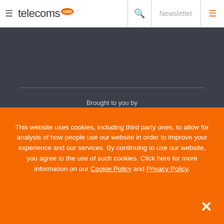telecoms.com | Newsletter
[Figure (logo): Informa Tech logo with circular icon and text 'informa tech' — brought to you by section on dark background]
Brought to you by
This website uses cookies, including third party ones, to allow for analysis of how people use our website in order to improve your experience and our services. By continuing to use our website, you agree to the use of such cookies. Click here for more information on our Cookie Policy and Privacy Policy.